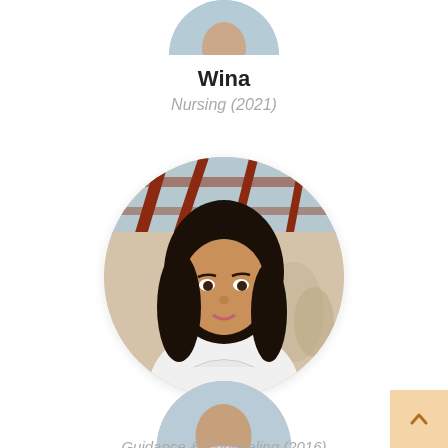[Figure (photo): Partial circular profile photo of Wina at top of page]
Wina
Nursing (2021)
[Figure (photo): Circular profile photo of Vana, a young woman with long dark hair wearing a white top, seated in a building with red structural beams]
Vana
Guidance & Counseling (2016)
[Figure (photo): Partial circular profile photo at bottom of page]
[Figure (other): Peach/beige scroll-to-top button in bottom right corner with upward chevron arrow]